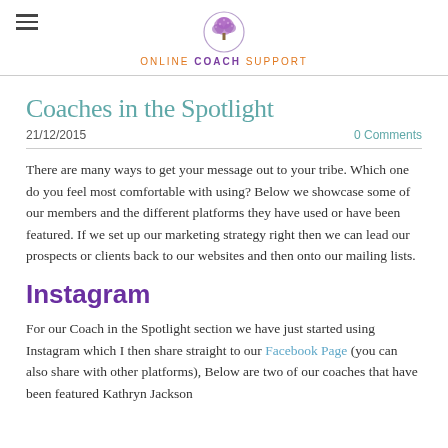ONLINE COACH SUPPORT
Coaches in the Spotlight
21/12/2015    0 Comments
There are many ways to get your message out to your tribe.  Which one do you feel most comfortable with using?  Below we showcase some of our members and the different platforms they have used or have been featured.  If we set up our marketing strategy right then we can lead our prospects or clients back to our websites and then onto our mailing lists.
Instagram
For our Coach in the Spotlight section we have just started using Instagram which I then share straight to our Facebook Page (you can also share with other platforms),  Below are two of our coaches that have been featured Kathryn Jackson